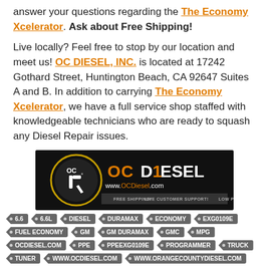answer your questions regarding the The Economy Xcelerator. Ask about Free Shipping!
Live locally? Feel free to stop by our location and meet us! OC DIESEL, INC. is located at 17242 Gothard Street, Huntington Beach, CA 92647 Suites A and B. In addition to carrying The Economy Xcelerator, we have a full service shop staffed with knowledgeable technicians who are ready to squash any Diesel Repair issues.
[Figure (logo): OC Diesel logo on black background with circular emblem and text www.OCDiesel.com, FREE SHIPPING!, LIVE CUSTOMER SUPPORT!, LOW PRICES!]
6.6
6.6L
DIESEL
DURAMAX
ECONOMY
EXG0109E
FUEL ECONOMY
GM
GM DURAMAX
GMC
MPG
OCDIESEL.COM
PPE
PPEEXG0109E
PROGRAMMER
TRUCK
TUNER
WWW.OCDIESEL.COM
WWW.ORANGECOUNTYDIESEL.COM